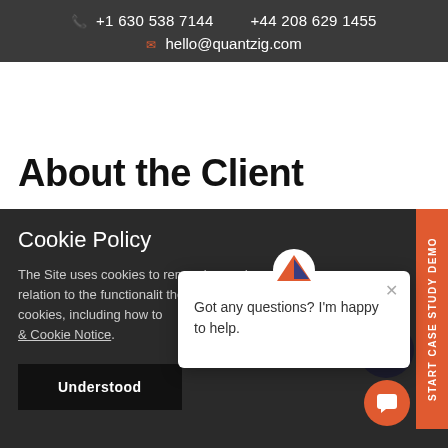+1 630 538 7144    +44 208 629 1455    hello@quantzig.com
About the Client
Cookie Policy
The Site uses cookies to remember and process in relation to the functionality the help guide of your browser for cookies, including how to & Cookie Notice.
Got any questions? I'm happy to help.
Understood